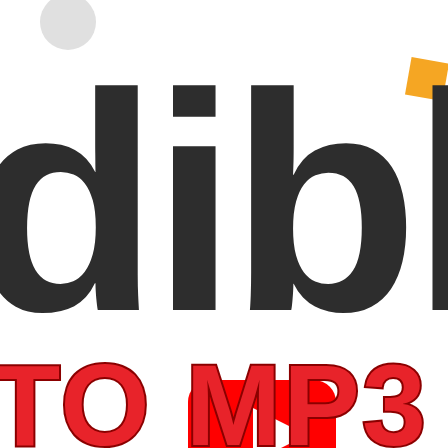[Figure (screenshot): YouTube video thumbnail showing the Audible logo (cropped to show 'dible' text in dark gray with an orange diamond accent top right), a YouTube play button overlay in the center, and bold red text 'TO MP3' at the bottom. The image represents a video about converting Audible audiobooks to MP3 format.]